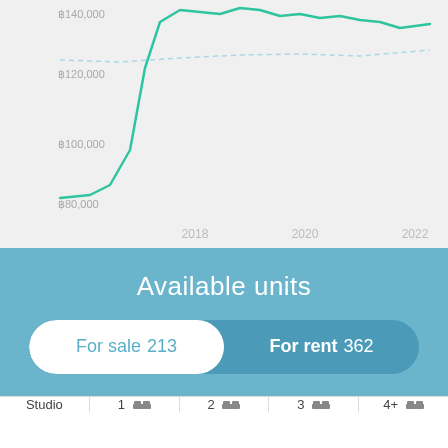[Figure (continuous-plot): Line chart showing property price trends over time (2016-2022+), with y-axis labels ฿80,000, ฿100,000, ฿120,000, ฿140,000+ and x-axis labels 2018, 2020, 2022. A solid green line and a dashed light blue line are shown.]
Available units
For sale 213
For rent 362
| Studio | 1 🛏 | 2 🛏 | 3 🛏 | 4+ 🛏 |
| --- | --- | --- | --- | --- |